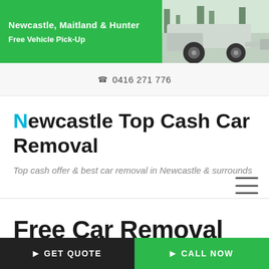[Figure (screenshot): Green banner with white text showing 'Newcastle, Maitland & Hunter' and 'Free Vehicle Pick-Up', alongside a photo of a truck/car on the right side]
☎ 0416 271 776
Newcastle Top Cash Car Removal
Top cash offer & best car removal in Newcastle & surrounds
[Figure (other): Hamburger menu icon (three horizontal lines)]
Free Car Removal
Get Quote
Call Now